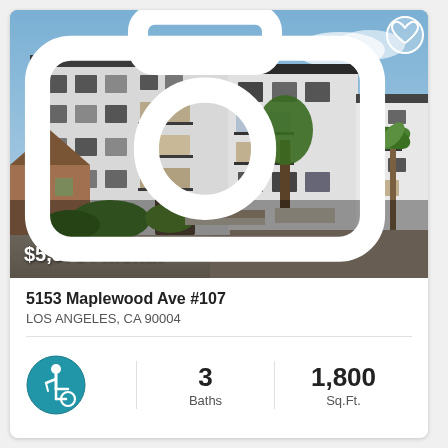[Figure (photo): Exterior photo of a modern multi-story white apartment building at 5153 Maplewood Ave, Los Angeles, with balconies, landscaping, and street view. Price overlay shows $5,575 / month and photo count 35.]
5153 Maplewood Ave #107
LOS ANGELES, CA 90004
[Figure (other): Accessibility (wheelchair) icon in blue circle]
3 Baths
1,800 Sq.Ft.